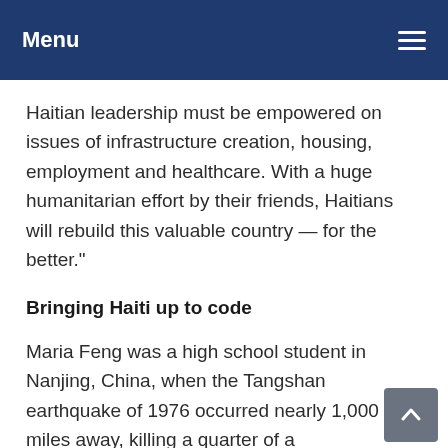Menu
Haitian leadership must be empowered on issues of infrastructure creation, housing, employment and healthcare. With a huge humanitarian effort by their friends, Haitians will rebuild this valuable country — for the better."
Bringing Haiti up to code
Maria Feng was a high school student in Nanjing, China, when the Tangshan earthquake of 1976 occurred nearly 1,000 miles away, killing a quarter of a